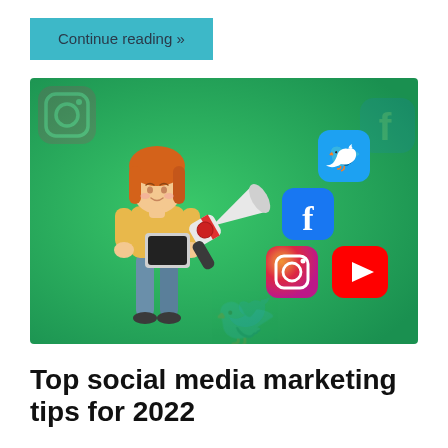Continue reading »
[Figure (illustration): 3D illustration of a cartoon girl with orange hair holding a tablet, standing on a green background. Around her float 3D social media icons: Twitter (blue bird), Facebook (blue f), Instagram (gradient camera), and YouTube (red play button). A megaphone/loudspeaker is in the center foreground. Faint watermark-style social media icons are in the background.]
Top social media marketing tips for 2022